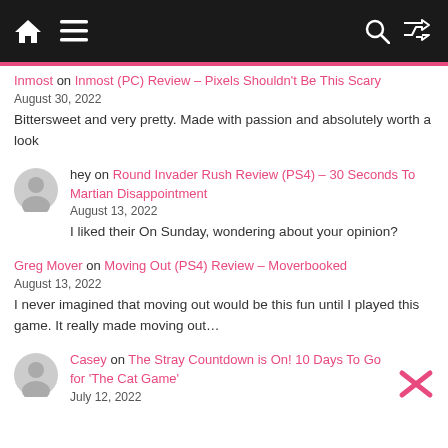Navigation bar with home, menu, search, shuffle icons
Inmost on Inmost (PC) Review – Pixels Shouldn't Be This Scary
August 30, 2022
Bittersweet and very pretty. Made with passion and absolutely worth a look
hey on Round Invader Rush Review (PS4) – 30 Seconds To Martian Disappointment
August 13, 2022
I liked their On Sunday, wondering about your opinion?
Greg Mover on Moving Out (PS4) Review – Moverbooked
August 13, 2022
I never imagined that moving out would be this fun until I played this game. It really made moving out…
Casey on The Stray Countdown is On! 10 Days To Go for 'The Cat Game'
July 12, 2022